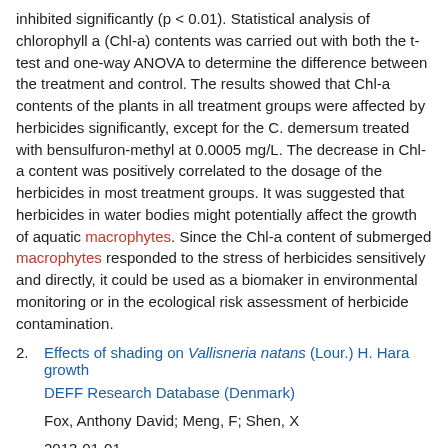inhibited significantly (p < 0.01). Statistical analysis of chlorophyll a (Chl-a) contents was carried out with both the t-test and one-way ANOVA to determine the difference between the treatment and control. The results showed that Chl-a contents of the plants in all treatment groups were affected by herbicides significantly, except for the C. demersum treated with bensulfuron-methyl at 0.0005 mg/L. The decrease in Chl-a content was positively correlated to the dosage of the herbicides in most treatment groups. It was suggested that herbicides in water bodies might potentially affect the growth of aquatic macrophytes. Since the Chl-a content of submerged macrophytes responded to the stress of herbicides sensitively and directly, it could be used as a biomaker in environmental monitoring or in the ecological risk assessment of herbicide contamination.
Effects of shading on Vallisneria natans (Lour.) H. Hara growth
DEFF Research Database (Denmark)
Fox, Anthony David; Meng, F; Shen, X
2013-01-01